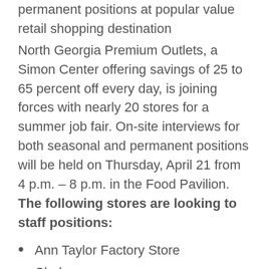permanent positions at popular value retail shopping destination
North Georgia Premium Outlets, a Simon Center offering savings of 25 to 65 percent off every day, is joining forces with nearly 20 stores for a summer job fair. On-site interviews for both seasonal and permanent positions will be held on Thursday, April 21 from 4 p.m. – 8 p.m. in the Food Pavilion. The following stores are looking to staff positions:
Ann Taylor Factory Store
Clarks
Coach Outlet
Cole Haan Outlet